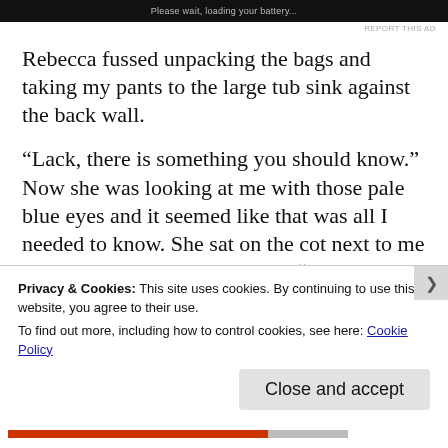[Figure (screenshot): Dark advertisement banner at the top of the page]
REPORT THIS AD
Rebecca fussed unpacking the bags and taking my pants to the large tub sink against the back wall.
“Lack, there is something you should know.” Now she was looking at me with those pale blue eyes and it seemed like that was all I needed to know. She sat on the cot next to me and looked down at her hands. “Those men, Doktor Soloman and the others, they cheat you out of the diamonds of your agreement. Your address book was not destroy. I been them talking
Privacy & Cookies: This site uses cookies. By continuing to use this website, you agree to their use.
To find out more, including how to control cookies, see here: Cookie Policy